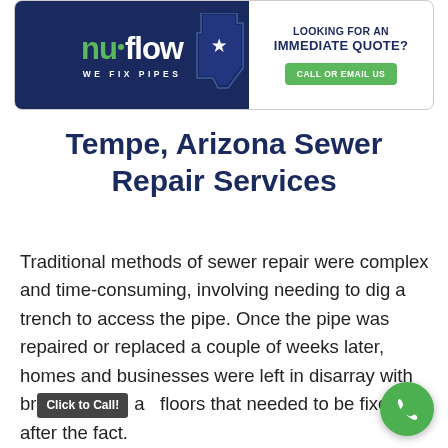[Figure (logo): Nu-Flow 'WE FIX PIPES' banner advertisement with Arizona state shape silhouette and 'LOOKING FOR AN IMMEDIATE QUOTE? CALL OR EMAIL US' call to action button]
Tempe, Arizona Sewer Repair Services
Traditional methods of sewer repair were complex and time-consuming, involving needing to dig a trench to access the pipe. Once the pipe was repaired or replaced a couple of weeks later, homes and businesses were left in disarray with br[oken] a[nd] floors that needed to be fixed after the fact.